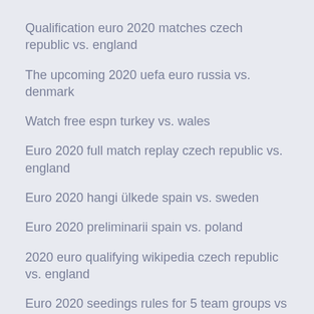Qualification euro 2020 matches czech republic vs. england
The upcoming 2020 uefa euro russia vs. denmark
Watch free espn turkey vs. wales
Euro 2020 full match replay czech republic vs. england
Euro 2020 hangi ülkede spain vs. sweden
Euro 2020 preliminarii spain vs. poland
2020 euro qualifying wikipedia czech republic vs. england
Euro 2020 seedings rules for 5 team groups vs 6 team groups spain vs. sweden
Resultados de españa para la euro 2020 germany vs.